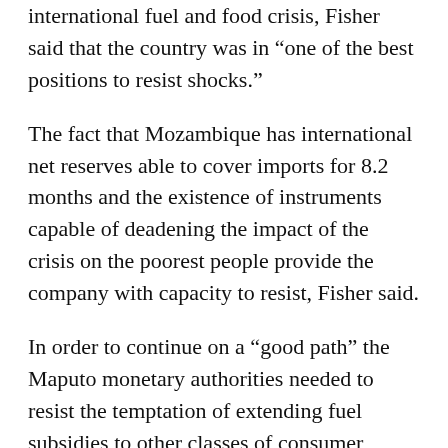international fuel and food crisis, Fisher said that the country was in “one of the best positions to resist shocks.”
The fact that Mozambique has international net reserves able to cover imports for 8.2 months and the existence of instruments capable of deadening the impact of the crisis on the poorest people provide the company with capacity to resist, Fisher said.
In order to continue on a “good path” the Maputo monetary authorities needed to resist the temptation of extending fuel subsidies to other classes of consumer, limiting them to public transport, which is used by the poorest sections of the population. (macauhub)